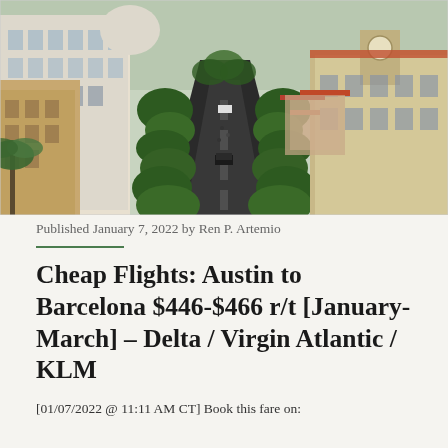[Figure (photo): Aerial view of a tree-lined boulevard in Barcelona, with tall buildings on either side and terracotta rooftops]
Published January 7, 2022 by Ren P. Artemio
Cheap Flights: Austin to Barcelona $446-$466 r/t [January-March] – Delta / Virgin Atlantic / KLM
[01/07/2022 @ 11:11 AM CT] Book this fare on: